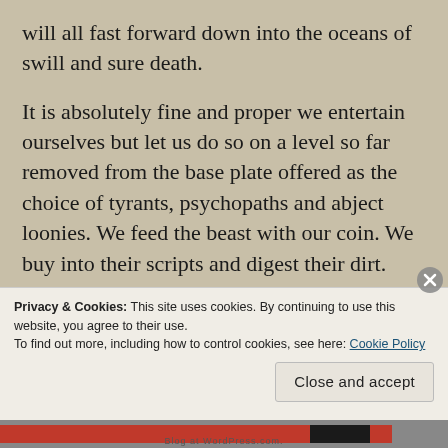will all fast forward down into the oceans of swill and sure death.
It is absolutely fine and proper we entertain ourselves but let us do so on a level so far removed from the base plate offered as the choice of tyrants, psychopaths and abject loonies. We feed the beast with our coin. We buy into their scripts and digest their dirt. Withdrawing our support may mean short term loss, yet supporting alternative funding for films of depth and insight is one step in the right direction. Crowdfunding such efforts,
Privacy & Cookies: This site uses cookies. By continuing to use this website, you agree to their use.
To find out more, including how to control cookies, see here: Cookie Policy
Close and accept